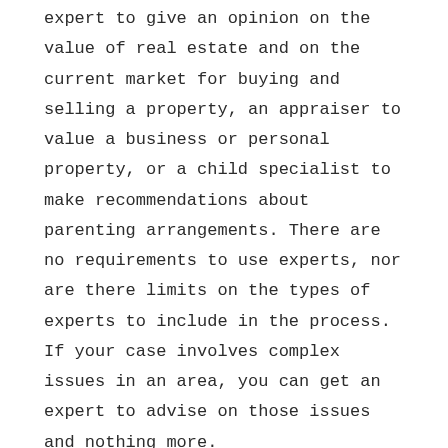expert to give an opinion on the value of real estate and on the current market for buying and selling a property, an appraiser to value a business or personal property, or a child specialist to make recommendations about parenting arrangements. There are no requirements to use experts, nor are there limits on the types of experts to include in the process. If your case involves complex issues in an area, you can get an expert to advise on those issues and nothing more.
But My Partner and I Don't Agree – Is Collaborative Divorce Right For Us?
In the collaborative divorce process, the clients do not start the process agreeing on everything. They